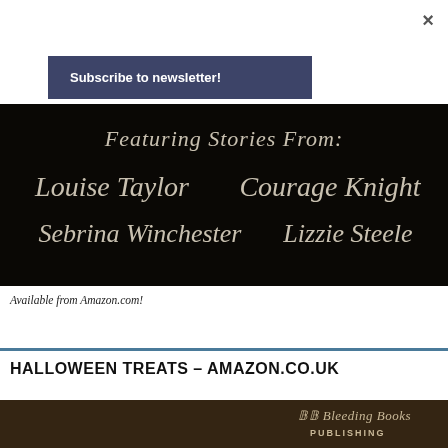×
Subscribe to newsletter!
[Figure (illustration): Book cover image with dark background showing text: Featuring Stories From: Louise Taylor, Courage Knight, Sebrina Winchester, Lizzie Steele]
Available from Amazon.com!
HALLOWEEN TREATS – AMAZON.CO.UK
[Figure (illustration): Bottom portion of a dark brown book cover with BB Bleeding Books Publishing logo]